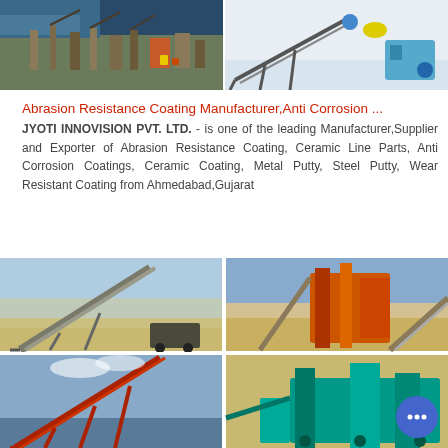[Figure (photo): Two industrial photos side by side: left shows an aerial view of an industrial plant/port facility; right shows conveyor belt machinery equipment in a warehouse]
Abrasion Resistance Coating Manufacturer,Anti Corrosion ...
JYOTI INNOVISION PVT. LTD. - is one of the leading Manufacturer,Supplier and Exporter of Abrasion Resistance Coating, Ceramic Line Parts, Anti Corrosion Coatings, Ceramic Coating, Metal Putty, Steel Putty, Wear Resistant Coating from Ahmedabad,Gujarat
[Figure (photo): Four industrial photos in a 2x2 grid showing mining/quarry conveyor equipment and crushing machinery]